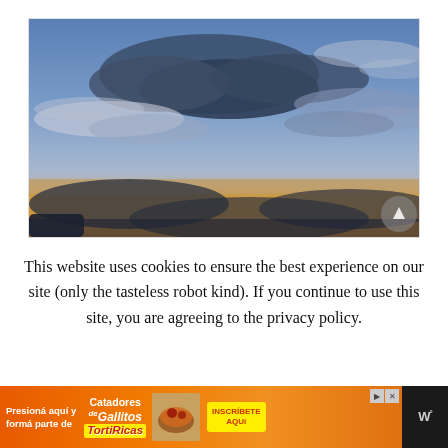[Figure (photo): A dramatic sky photograph showing blue sky with dark and wispy clouds, with golden-orange light near the horizon, suggesting a sunset or sunrise scene.]
This website uses cookies to ensure the best experience on our site (only the tasteless robot kind). If you continue to use this site, you are agreeing to the privacy policy.
[Figure (infographic): An advertisement banner with orange background. Left text reads 'Presioná aquí y formá parte de'. Center shows 'Catadores de Gallitos' and 'TortiRicas' branding. Right side has 'INSCRÍBETE AQUí' call-to-action button and a food photo. Far right shows 'W°' logo on dark background.]